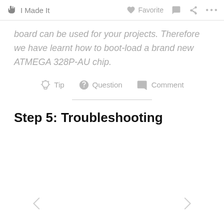I Made It  Favorite  Comment  Share  ...
board can be used for your projects. Therefore we have learnt how to boot-load a brand new ATMEGA 328P-AU chip.
Tip  Question  Comment
Step 5: Troubleshooting